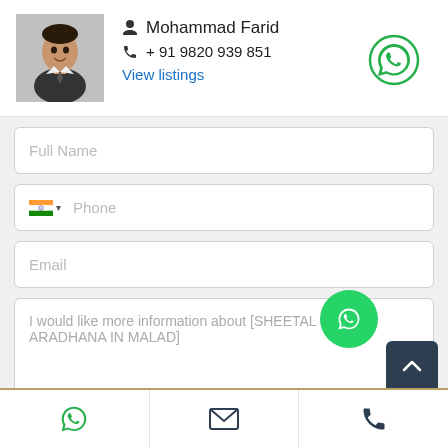[Figure (photo): Black and white portrait photo of a man in a suit]
Mohammad Farid
+ 91 9820 939 851
View listings
[Figure (logo): WhatsApp logo icon (green circle with phone handset)]
Full Name
Phone
Email
I would like more information about [SHEETAL O... ARADHANA IN MALAD]
I agree with your Terms & Conditions
[Figure (logo): WhatsApp floating action button (green circle with WhatsApp icon)]
[Figure (logo): Scroll to top button (dark navy rounded square with up chevron)]
[Figure (logo): Bottom bar with three icons: WhatsApp, Email envelope, Phone]